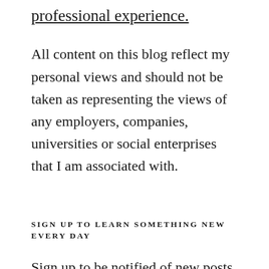professional experience.
All content on this blog reflect my personal views and should not be taken as representing the views of any employers, companies, universities or social enterprises that I am associated with.
SIGN UP TO LEARN SOMETHING NEW EVERY DAY
Sign up to be notified of new posts via email. Fair warning - I try and write every day so that's a lot of email.